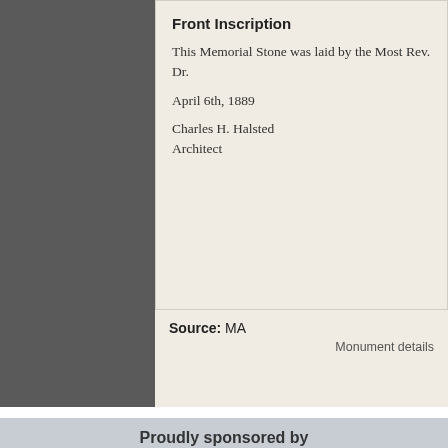Front Inscription
This Memorial Stone was laid by the Most Rev. Dr.
April 6th, 1889
Charles H. Halsted
Architect
Source: MA
Monument details
Proudly sponsored by
[Figure (logo): UBC Web Design logo with globe graphic and tagline 'We connect you with the world']